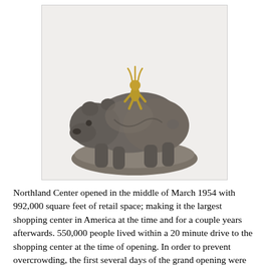[Figure (photo): Bronze sculpture of a large bear with a small golden human figure sitting on its back, mounted on an oval base.]
Northland Center opened in the middle of March 1954 with 992,000 square feet of retail space; making it the largest shopping center in America at the time and for a couple years afterwards. 550,000 people lived within a 20 minute drive to the shopping center at the time of opening. In order to prevent overcrowding, the first several days of the grand opening were kept fairly quiet and the grand opening lasted